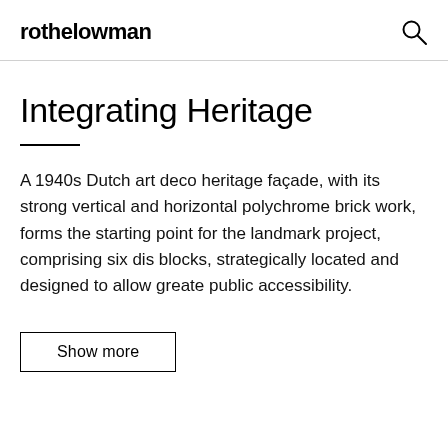rothelowman
Integrating Heritage
A 1940s Dutch art deco heritage façade, with its strong vertical and horizontal polychrome brick work, forms the starting point for the landmark project, comprising six dis blocks, strategically located and designed to allow greate public accessibility.
Show more